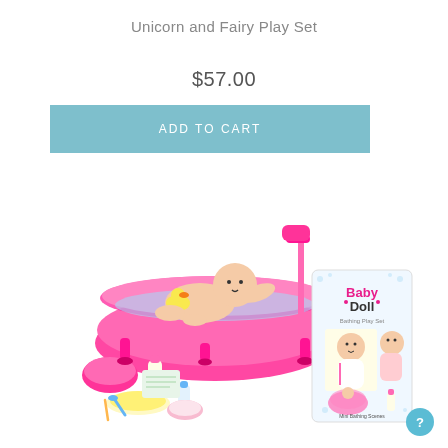Unicorn and Fairy Play Set
$57.00
ADD TO CART
[Figure (photo): Baby Doll Bathtub Play Set product photo showing a baby doll in a pink bathtub with shower attachment, rubber duck, accessories including bowls, bottles, spoon, plate, and the product box featuring Baby Doll Bathing Play Set branding.]